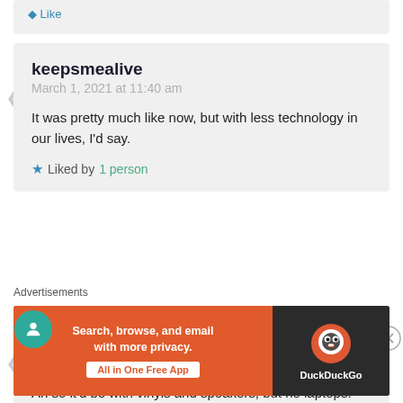Like
keepsmealive
March 1, 2021 at 11:40 am

It was pretty much like now, but with less technology in our lives, I'd say.

★ Liked by 1 person
Lana Teramae
March 1, 2021 at 10:14 pm

Ah so it'd be with vinyls and speakers, but no laptops!
Advertisements
[Figure (screenshot): DuckDuckGo advertisement banner: 'Search, browse, and email with more privacy. All in One Free App' with DuckDuckGo logo on dark background]